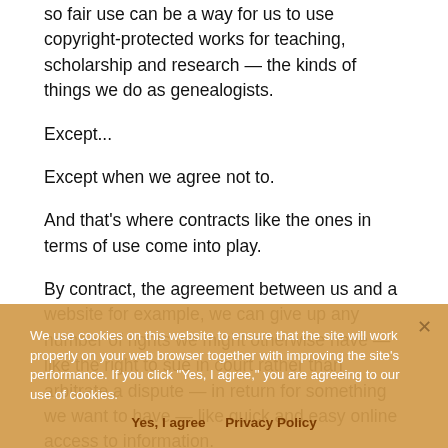so fair use can be a way for us to use copyright-protected works for teaching, scholarship and research — the kinds of things we do as genealogists.
Except...
Except when we agree not to.
And that's where contracts like the ones in terms of use come into play.
By contract, the agreement between us and a website for example, we can give up any number of rights we might otherwise have — like the right to sue in court rather than arbitrate a dispute — in return for something we want to have — like quick and easy online access to information.
It's the fact that both sides get something (the website, our money; us as users, online access to information or data or records) that makes the contract enforceable. So when we enter into an agreement with a website with terms of use that say we can't use something in a particular way, that...
We use cookies on this website to ensure that the site will work properly on your web browser together with improving the site's performance. If you click "Yes, I agree," you are agreeing to our use of cookies.
Yes, I agree   Privacy Policy